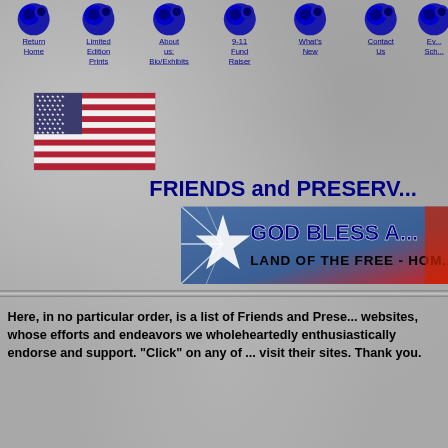Navigation bar: Return Home | Limited Edition Prints | About us: Bio/Exhibits | 9-11 Fund Raiser | What's New | Contact Us | Ev... Sch...
[Figure (photo): American flag waving]
FRIENDS and PRESERV...
[Figure (illustration): GOD BLESS A... LAND OF THE FREE - HOM... banner with stars and flag colors]
Here, in no particular order, is a list of Friends and Preserve... websites, whose efforts and endeavors we wholeheartedly enthusiastically endorse and support. "Click" on any of ... visit their sites. Thank you.